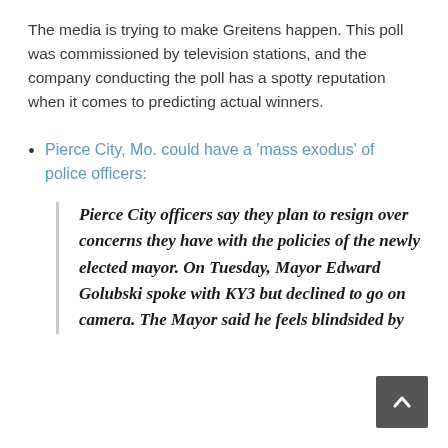The media is trying to make Greitens happen. This poll was commissioned by television stations, and the company conducting the poll has a spotty reputation when it comes to predicting actual winners.
Pierce City, Mo. could have a 'mass exodus' of police officers:
Pierce City officers say they plan to resign over concerns they have with the policies of the newly elected mayor. On Tuesday, Mayor Edward Golubski spoke with KY3 but declined to go on camera. The Mayor said he feels blindsided by